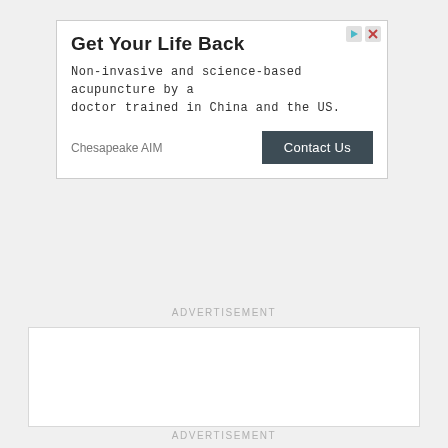[Figure (other): Advertisement banner for Chesapeake AIM acupuncture. Title: 'Get Your Life Back'. Body: 'Non-invasive and science-based acupuncture by a doctor trained in China and the US.' Company: Chesapeake AIM. Button: Contact Us.]
ADVERTISEMENT
[Figure (other): Empty white advertisement box placeholder]
ADVERTISEMENT